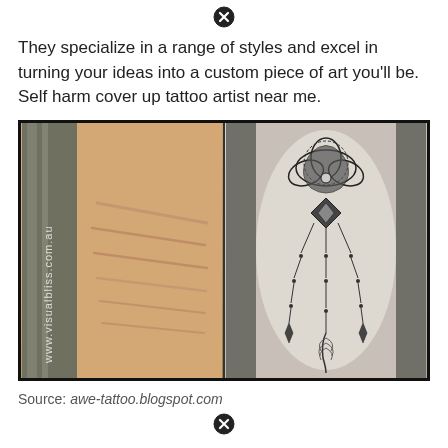[Figure (other): Close/cancel button icon (circled X) at top center of page]
They specialize in a range of styles and excel in turning your ideas into a custom piece of art you'll be. Self harm cover up tattoo artist near me.
[Figure (photo): Before and after photo of a self harm cover up tattoo. Left side shows an arm with scars and watermark text 'www.visualbliss.com.au'. Right side shows the same arm with a decorative black tattoo featuring a lotus flower, chandelier-style beaded chains, and a feather.]
Source: awe-tattoo.blogspot.com
[Figure (other): Close/cancel button icon (circled X) at bottom center of page]